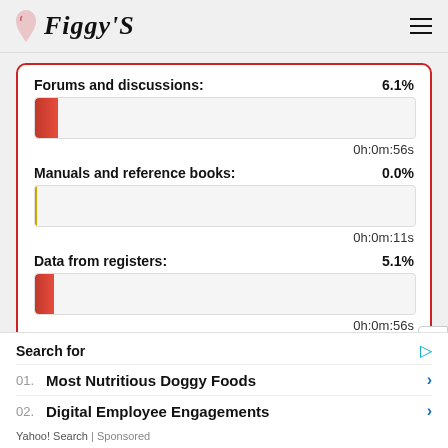Figgy'S
[Figure (bar-chart): Forums and discussions / Manuals and reference books / Data from registers]
0h:0m:56s
0h:0m:11s
0h:0m:56s
Search for
01. Most Nutritious Doggy Foods
02. Digital Employee Engagements
Yahoo! Search | Sponsored